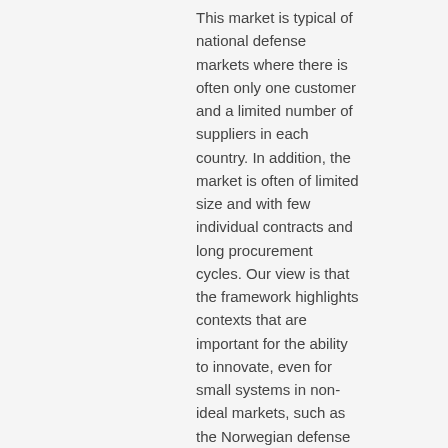This market is typical of national defense markets where there is often only one customer and a limited number of suppliers in each country. In addition, the market is often of limited size and with few individual contracts and long procurement cycles. Our view is that the framework highlights contexts that are important for the ability to innovate, even for small systems in non-ideal markets, such as the Norwegian defense market. We are thus of the opinion that the method is well suited for further studies of innovation systems within the Norwegian triangular collaboration.
|  |  |  |
| --- | --- | --- |
| dc.language.iso | nob | en_G |
| dc.subject | Innovasjon | en_G |
| dc.subject | Materiellanskaffelser | en_G |
| dc.subject | Militær teknologi | en_G |